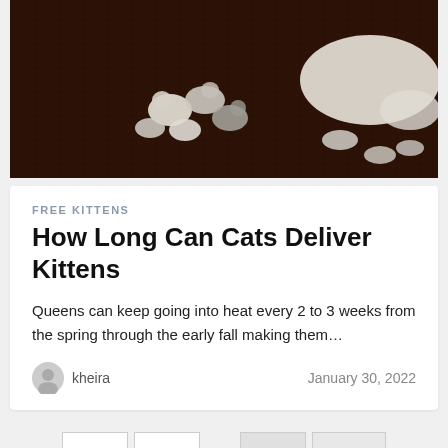[Figure (photo): Photo of newborn kittens lying on a dark brown fluffy rug next to a white cat, viewed from above]
FREE KITTENS
How Long Can Cats Deliver Kittens
Queens can keep going into heat every 2 to 3 weeks from the spring through the early fall making them…
kheira
January 30, 2022
1  2  ...  267  Next